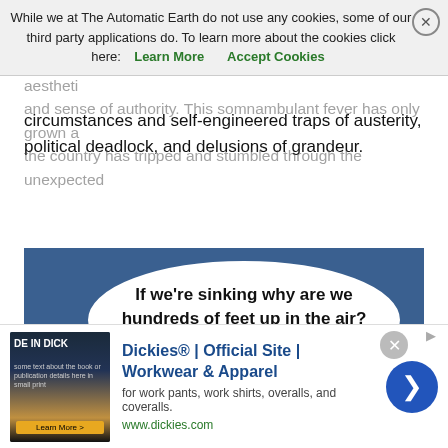media managed the perspective and narrative in the country, much like the American system but with its own uniquely British aesthetic and sense of authority. This somnambulant fever has only grown as the country has tripped and stumbled through the unexpected circumstances and self-engineered traps of austerity, political deadlock, and delusions of grandeur.
While we at The Automatic Earth do not use any cookies, some of our third party applications do. To learn more about the cookies click here: Learn More   Accept Cookies
[Figure (illustration): Satirical image of the Titanic sinking with a speech bubble reading: 'If we're sinking why are we hundreds of feet up in the air?' — showing the ship tilted at an angle with icebergs in the background against a blue sky.]
[Figure (other): Advertisement for Dickies Official Site - Workwear and Apparel. Shows a book thumbnail with dark cover, ad title 'Dickies® | Official Site | Workwear & Apparel', description 'for work pants, work shirts, overalls, and coveralls.', URL www.dickies.com, and a blue circle arrow button.]